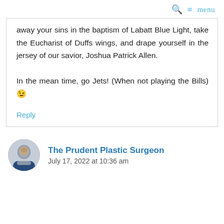🔍 ≡ menu
away your sins in the baptism of Labatt Blue Light, take the Eucharist of Duffs wings, and drape yourself in the jersey of our savior, Joshua Patrick Allen.

In the mean time, go Jets! (When not playing the Bills) 😉
Reply
The Prudent Plastic Surgeon
July 17, 2022 at 10:36 am